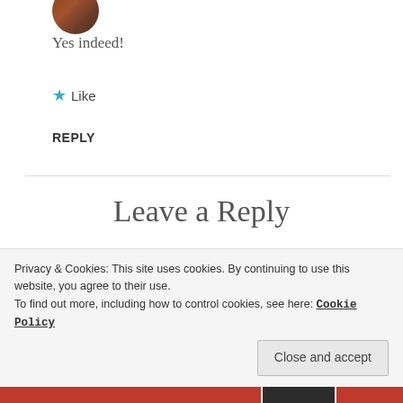[Figure (photo): Partial avatar/profile photo circle at top]
Yes indeed!
★ Like
REPLY
Leave a Reply
Your email address will not be published. Required fields are marked *
Privacy & Cookies: This site uses cookies. By continuing to use this website, you agree to their use.
To find out more, including how to control cookies, see here: Cookie Policy
Close and accept